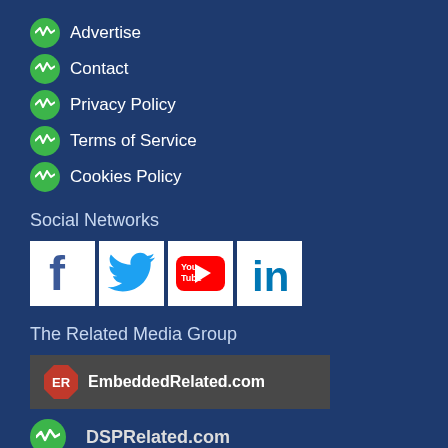Advertise
Contact
Privacy Policy
Terms of Service
Cookies Policy
Social Networks
[Figure (logo): Social media icons: Facebook, Twitter, YouTube, LinkedIn]
The Related Media Group
[Figure (logo): EmbeddedRelated.com logo on dark grey background]
[Figure (logo): DSPRelated.com logo with green waveform icon]
[Figure (logo): Electronics-Related.com logo on red background]
[Figure (logo): FPGARelated.com logo on green background]